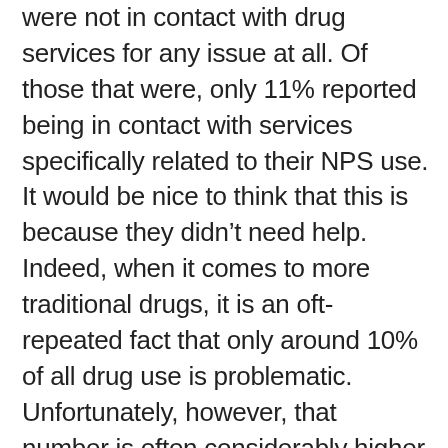were not in contact with drug services for any issue at all. Of those that were, only 11% reported being in contact with services specifically related to their NPS use. It would be nice to think that this is because they didn't need help. Indeed, when it comes to more traditional drugs, it is an oft-repeated fact that only around 10% of all drug use is problematic. Unfortunately, however, that number is often considerably higher among users of certain NPS, particularly synthetic cannabinoid mixes like ‘Spice’ and ‘Black Mamba’ that are currently ravaging swathes of the UK’s prison and homeless populations.